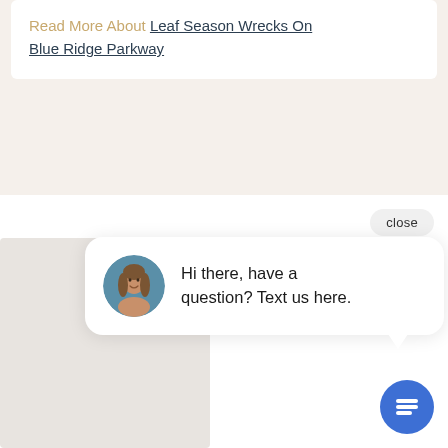Read More About Leaf Season Wrecks On Blue Ridge Parkway
[Figure (screenshot): Chat widget popup with avatar photo of a woman, displaying the message 'Hi there, have a question? Text us here.' with a close button and a blue chat icon button.]